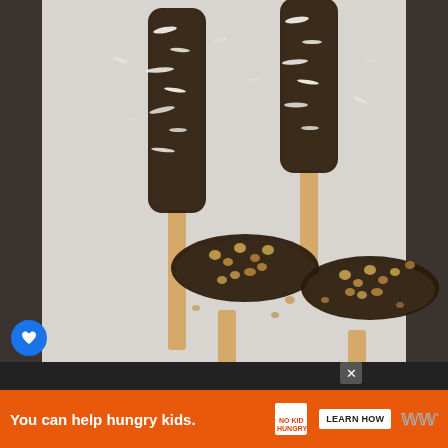[Figure (photo): Four chocolate-dipped frozen banana pops on popsicle sticks on parchment paper. Two are topped with shredded coconut (top), two with crushed peanuts (bottom).]
59
WHAT'S NEXT → Banana Bread Brownies
You can help hungry kids.
LEARN HOW